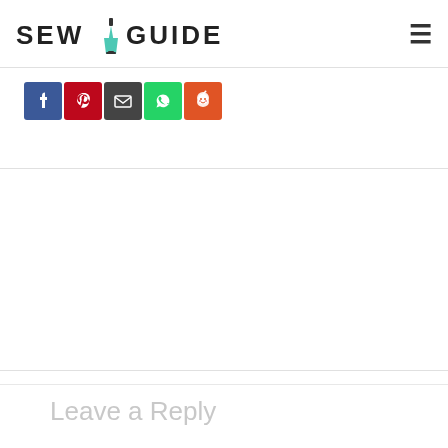SEW GUIDE
[Figure (logo): SewGuide logo with dress mannequin icon between SEW and GUIDE text]
[Figure (infographic): Social share buttons row: Facebook (blue), Pinterest (red), Email (dark gray), WhatsApp (green), Reddit (orange)]
Leave a Reply